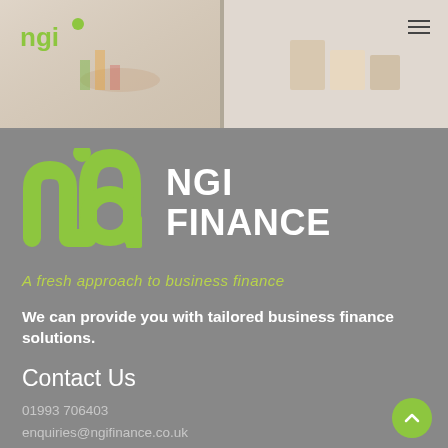[Figure (photo): Header banner with office/finance background photos split into left and right panels]
[Figure (logo): NGI Finance logo — green stylized 'ngi' letters with circle dot, followed by 'NGI FINANCE' text in white on grey background]
A fresh approach to business finance
We can provide you with tailored business finance solutions.
Contact Us
01993 706403
enquiries@ngifinance.co.uk